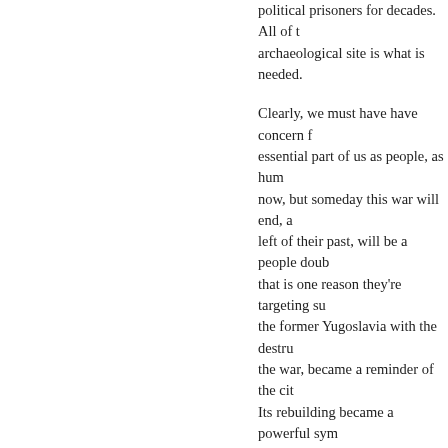political prisoners for decades. All of the archaeological site is what is needed.
Clearly, we must have have concern for essential part of us as people, as hum now, but someday this war will end, a left of their past, will be a people doub that is one reason they're targeting su the former Yugoslavia with the destru the war, became a reminder of the cit Its rebuilding became a powerful sym value to actual people. Stones do ma they tell us who we are. I also think th concern not because people are callo because sometimes the death of so m and unspeakable, is so awful to conte Most people simply feel helpless in th away in despair. Having concern for c concern that seems concrete, in some I defending it, I'm just trying to explain I also tried to make the point in the int Tadmur should be our first concern, a workers who are valiantly trying to sa of the story.
A last thought – to return to the questi speak about cultural heritage and peo